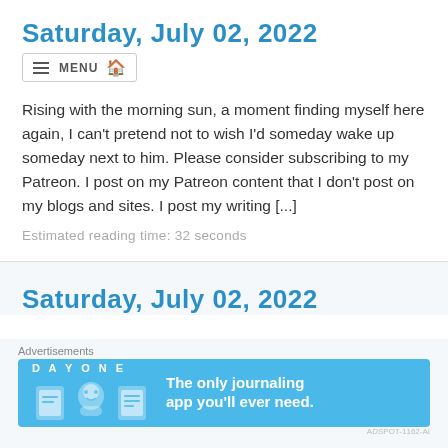Saturday, July 02, 2022
Rising with the morning sun, a moment finding myself here again, I can't pretend not to wish I'd someday wake up someday next to him. Please consider subscribing to my Patreon. I post on my Patreon content that I don't post on my blogs and sites. I post my writing [...]
Estimated reading time: 32 seconds
Saturday, July 02, 2022
Advertisements
[Figure (screenshot): DAY ONE app advertisement banner - blue background with app icons and text 'The only journaling app you'll ever need.']